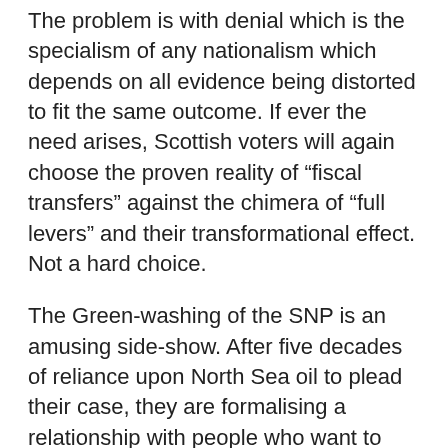The problem is with denial which is the specialism of any nationalism which depends on all evidence being distorted to fit the same outcome. If ever the need arises, Scottish voters will again choose the proven reality of “fiscal transfers” against the chimera of “full levers” and their transformational effect. Not a hard choice.
The Green-washing of the SNP is an amusing side-show. After five decades of reliance upon North Sea oil to plead their case, they are formalising a relationship with people who want to close it down tomorrow, requiring even more of the fabled “levers” to give an additional 100,000 Scottish workers decently paid employment.
An energy transition will progress over coming decades for reasons unrelated to Green posturing or Nationalist virtue-signalling. Just as the growth of renewables over the past 20 years was enabled by subsidy from consumers throughout the UK, so too will the transition towards net-